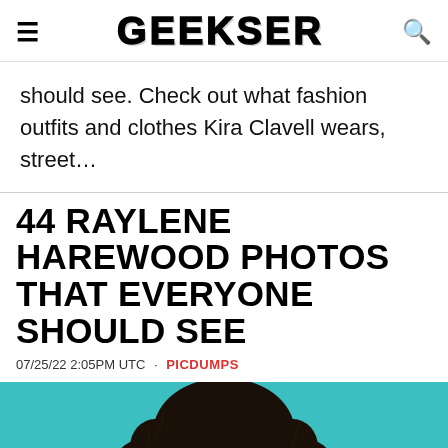GEEKSER
should see. Check out what fashion outfits and clothes Kira Clavell wears, street…
44 RAYLENE HAREWOOD PHOTOS THAT EVERYONE SHOULD SEE
07/25/22 2:05PM UTC · PICDUMPS
[Figure (photo): Portrait photo of a woman with large curly natural hair against a teal/turquoise background, shown from shoulders up, hand near face]